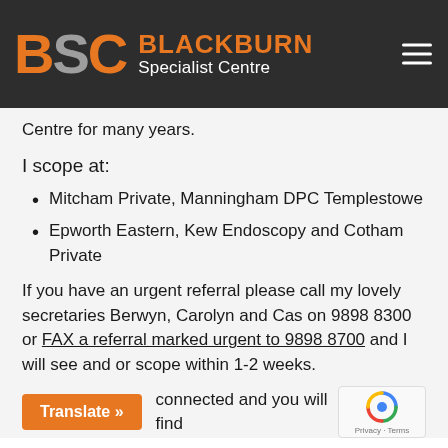[Figure (logo): BSC Blackburn Specialist Centre logo on dark background with hamburger menu icon]
Centre for many years.
I scope at:
Mitcham Private, Manningham DPC Templestowe
Epworth Eastern, Kew Endoscopy and Cotham Private
If you have an urgent referral please call my lovely secretaries Berwyn, Carolyn and Cas on 9898 8300 or FAX a referral marked urgent to 9898 8700 and I will see and or scope within 1-2 weeks.
connected and you will find